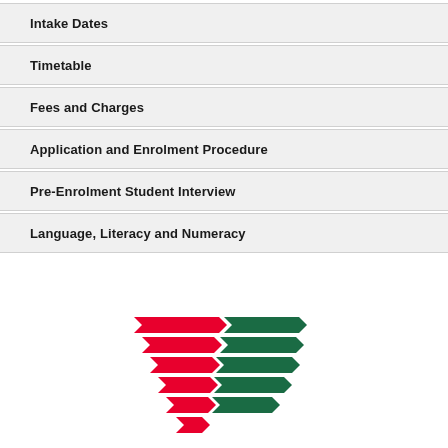Intake Dates
Timetable
Fees and Charges
Application and Enrolment Procedure
Pre-Enrolment Student Interview
Language, Literacy and Numeracy
[Figure (logo): Stylized logo with stacked red and dark green arrow/chevron shapes arranged in a cascading diagonal pattern]